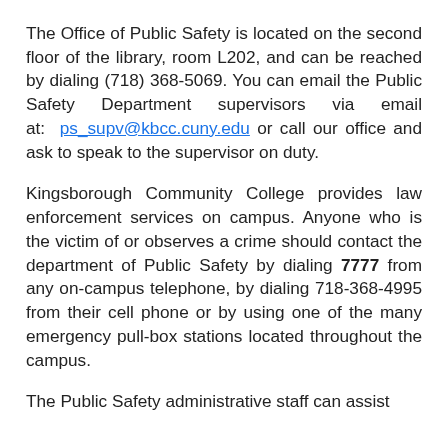The Office of Public Safety is located on the second floor of the library, room L202, and can be reached by dialing (718) 368-5069. You can email the Public Safety Department supervisors via email at: ps_supv@kbcc.cuny.edu or call our office and ask to speak to the supervisor on duty.
Kingsborough Community College provides law enforcement services on campus. Anyone who is the victim of or observes a crime should contact the department of Public Safety by dialing 7777 from any on-campus telephone, by dialing 718-368-4995 from their cell phone or by using one of the many emergency pull-box stations located throughout the campus.
The Public Safety administrative staff can assist...